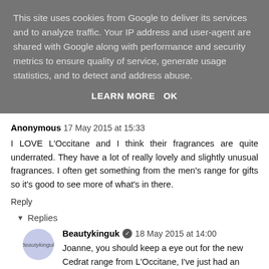This site uses cookies from Google to deliver its services and to analyze traffic. Your IP address and user-agent are shared with Google along with performance and security metrics to ensure quality of service, generate usage statistics, and to detect and address abuse.
LEARN MORE   OK
Anonymous  17 May 2015 at 15:33
I LOVE L'Occitane and I think their fragrances are quite underrated. They have a lot of really lovely and slightly unusual fragrances. I often get something from the men's range for gifts so it's good to see more of what's in there.
Reply
▾  Replies
Beautykinguk  ✔  18 May 2015 at 14:00
Joanne, you should keep a eye out for the new Cedrat range from L'Occitane, I've just had an